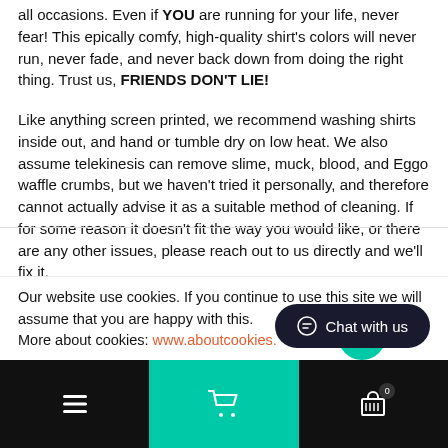all occasions. Even if YOU are running for your life, never fear! This epically comfy, high-quality shirt's colors will never run, never fade, and never back down from doing the right thing. Trust us, FRIENDS DON'T LIE!
Like anything screen printed, we recommend washing shirts inside out, and hand or tumble dry on low heat. We also assume telekinesis can remove slime, muck, blood, and Eggo waffle crumbs, but we haven't tried it personally, and therefore cannot actually advise it as a suitable method of cleaning. If for some reason it doesn't fit the way you would like, or there are any other issues, please reach out to us directly and we'll fix it.
Super awesome and high quality
Our website use cookies. If you continue to use this site we will assume that you are happy with this.
More about cookies: www.aboutcookies.
Navigation bar with hamburger menu, cart, and basket icons